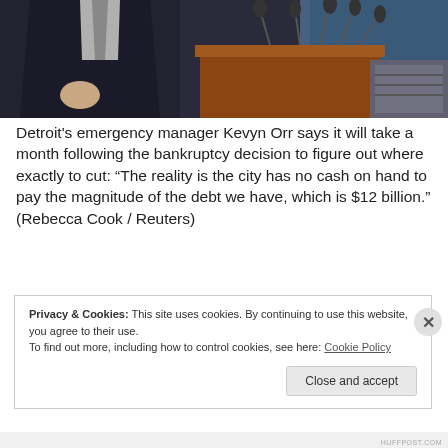[Figure (photo): A man in a dark suit at a podium surrounded by multiple microphones, speaking at a press conference. A blue background is visible behind him.]
Detroit's emergency manager Kevyn Orr says it will take a month following the bankruptcy decision to figure out where exactly to cut: “The reality is the city has no cash on hand to pay the magnitude of the debt we have, which is $12 billion.” (Rebecca Cook / Reuters)
Privacy & Cookies: This site uses cookies. By continuing to use this website, you agree to their use.
To find out more, including how to control cookies, see here: Cookie Policy
Close and accept